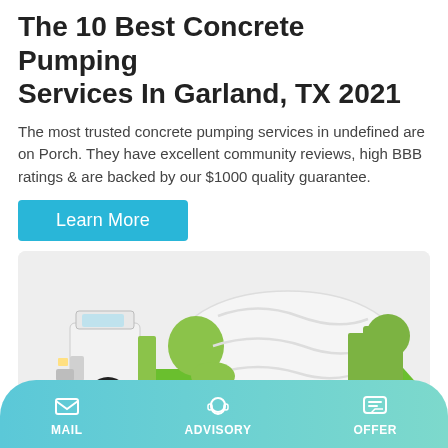The 10 Best Concrete Pumping Services In Garland, TX 2021
The most trusted concrete pumping services in undefined are on Porch. They have excellent community reviews, high BBB ratings & are backed by our $1000 quality guarantee.
[Figure (illustration): A green and white concrete mixer truck on a light grey background]
MAIL   ADVISORY   OFFER